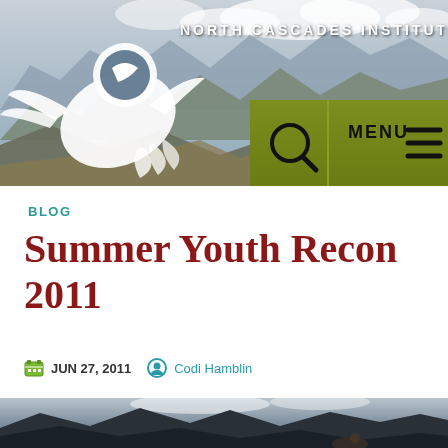[Figure (photo): North Cascades Institute website header with mountain landscape background, white bird/heron logo on left, organization name text, olive green navigation bar with search icon and MENU button on right]
BLOG
Summer Youth Recon 2011
JUN 27, 2011   Codi Hamblin
[Figure (photo): Outdoor landscape photo showing mountains, valley, cloudy sky, and people in the foreground near water]